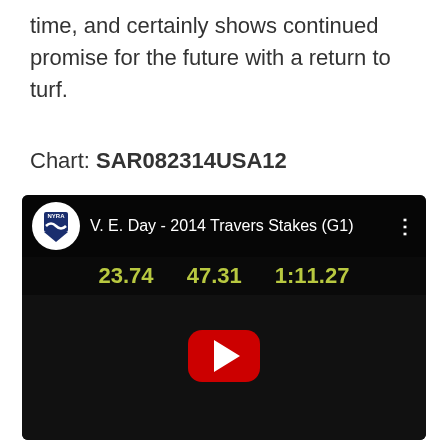time, and certainly shows continued promise for the future with a return to turf.
Chart: SAR082314USA12
[Figure (screenshot): YouTube video embed showing 'V. E. Day - 2014 Travers Stakes (G1)' with NYRA logo, timing numbers 23.74, 47.31, 1:11.27 displayed, and a YouTube play button in center of dark video frame.]